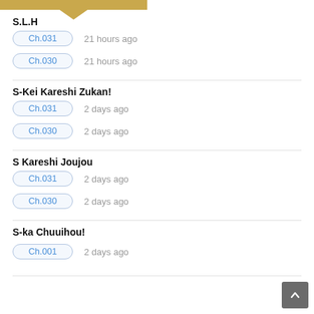[Figure (other): Gold/tan colored top bar with downward pointing arrow/chevron]
S.L.H
Ch.031   21 hours ago
Ch.030   21 hours ago
S-Kei Kareshi Zukan!
Ch.031   2 days ago
Ch.030   2 days ago
S Kareshi Joujou
Ch.031   2 days ago
Ch.030   2 days ago
S-ka Chuuihou!
Ch.001   2 days ago